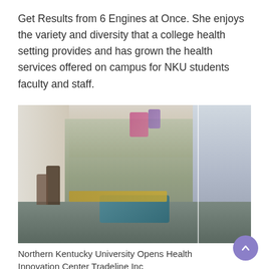Get Results from 6 Engines at Once. She enjoys the variety and diversity that a college health setting provides and has grown the health services offered on campus for NKU students faculty and staff.
[Figure (photo): Architectural rendering of a modern university health innovation center interior showing an open multi-level space with people walking, seating areas with blue furniture, glass walls, and a staircase on the right side.]
Northern Kentucky University Opens Health Innovation Center Tradeline Inc